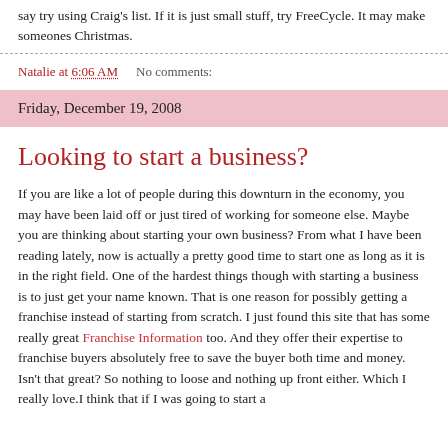say try using Craig's list. If it is just small stuff, try FreeCycle. It may make someones Christmas.
Natalie at 6:06 AM    No comments:
Friday, December 19, 2008
Looking to start a business?
If you are like a lot of people during this downturn in the economy, you may have been laid off or just tired of working for someone else. Maybe you are thinking about starting your own business? From what I have been reading lately, now is actually a pretty good time to start one as long as it is in the right field. One of the hardest things though with starting a business is to just get your name known. That is one reason for possibly getting a franchise instead of starting from scratch. I just found this site that has some really great Franchise Information too. And they offer their expertise to franchise buyers absolutely free to save the buyer both time and money. Isn't that great? So nothing to loose and nothing up front either. Which I really love.I think that if I was going to start a